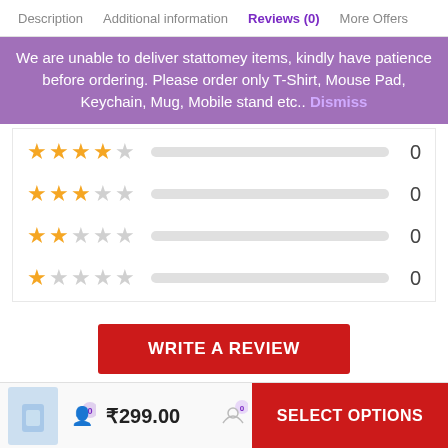Description | Additional information | Reviews (0) | More Offers
We are unable to deliver stationery items, kindly have patience before ordering. Please order only T-Shirt, Mouse Pad, Keychain, Mug, Mobile stand etc.. Dismiss
[Figure (other): Star rating breakdown: 4-star: 0 reviews, 3-star: 0 reviews, 2-star: 0 reviews, 1-star: 0 reviews. Each row shows filled/empty stars, a progress bar, and a count of 0.]
WRITE A REVIEW
User Reviews
There are no reviews yet.
₹299.00   SELECT OPTIONS